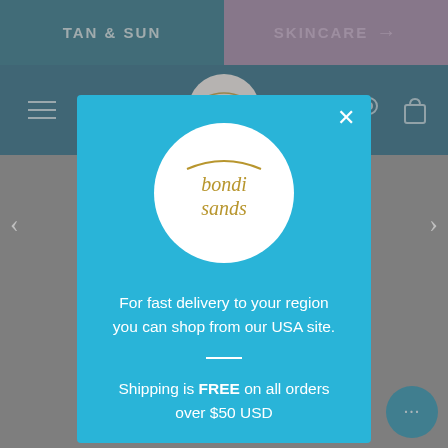TAN & SUN    SKINCARE →
[Figure (logo): Bondi Sands logo in circular frame in header]
[Figure (logo): Bondi Sands logo large circular white badge in modal popup]
For fast delivery to your region you can shop from our USA site.
Shipping is FREE on all orders over $50 USD